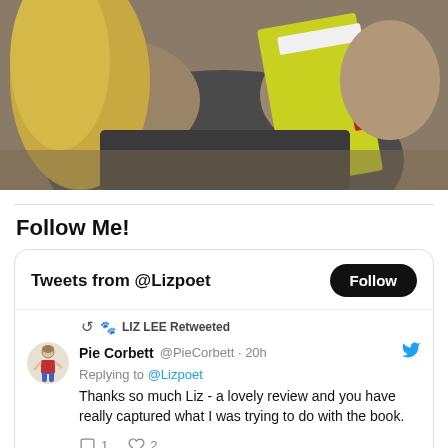[Figure (photo): A person with blonde hair holding a yellow book or binder, wearing a dark jacket with fur collar, sitting with a dog nearby.]
Follow Me!
[Figure (screenshot): Twitter widget showing 'Tweets from @Lizpoet' with a Follow button. A tweet from Pie Corbett (@PieCorbett, 20h) retweeted by LIZ LEE: 'Replying to @Lizpoet - Thanks so much Liz - a lovely review and you have really captured what I was trying to do with the book.' with 1 reply and 2 likes.]